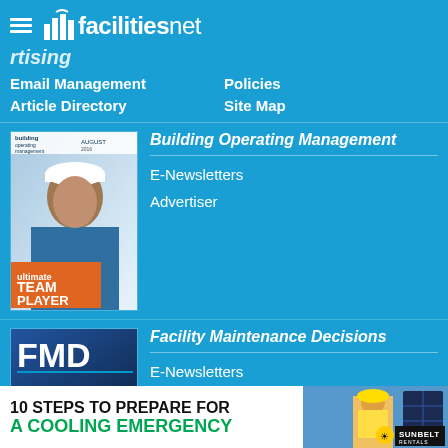facilitiesnet
Advertising
Email Management
Policies
Article Directory
Site Map
Building Operating Management
E-Newsletters
Advertiser
Facility Maintenance Decisions
E-Newsletters
Advertiser
Facilities Management Web Sites:
Healthcare Facilities Today | myFacilitiesNet |
NFMT - Facilities Education and Conference
[Figure (illustration): Building Operating Management magazine cover showing man in hard hat, TEAM PLAYER badge]
[Figure (illustration): Facility Maintenance Decisions magazine cover with FMD logo, EU stars circle, UPDATE text]
[Figure (illustration): Advertisement banner: 10 STEPS TO PREPARE FOR A COOLING EMERGENCY with Sunbelt Rentals logo]